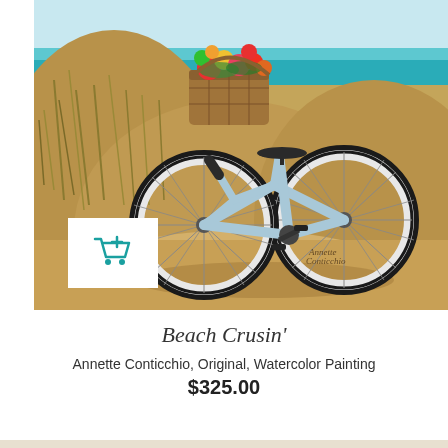[Figure (illustration): Watercolor painting of a light blue beach cruiser bicycle with a wicker basket full of colorful flowers on the front, parked on a sandy path among beach grass dunes with a turquoise ocean in the background. Artist signature 'Annette Conticchio' visible in lower right. A white add-to-cart button with a teal shopping cart icon is overlaid on the lower left of the image.]
Beach Crusin'
Annette Conticchio, Original, Watercolor Painting
$325.00